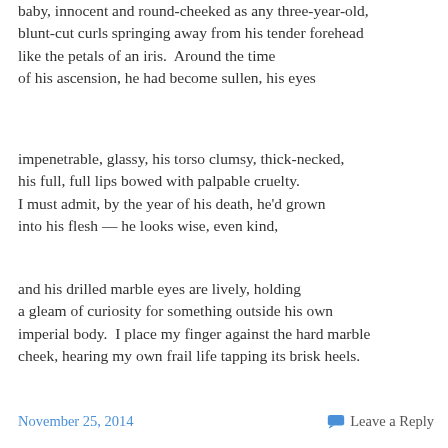baby, innocent and round-cheeked as any three-year-old, blunt-cut curls springing away from his tender forehead like the petals of an iris.  Around the time of his ascension, he had become sullen, his eyes
impenetrable, glassy, his torso clumsy, thick-necked, his full, full lips bowed with palpable cruelty. I must admit, by the year of his death, he'd grown into his flesh — he looks wise, even kind,
and his drilled marble eyes are lively, holding a gleam of curiosity for something outside his own imperial body.  I place my finger against the hard marble cheek, hearing my own frail life tapping its brisk heels.
November 25, 2014    Leave a Reply